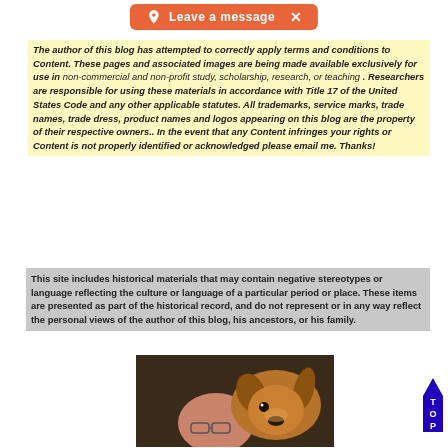[Figure (infographic): Orange rounded button bar with person icon, text 'Leave a message', and an X close button]
The author of this blog has attempted to correctly apply terms and conditions to Content. These pages and associated images are being made available exclusively for use in non-commercial and non-profit study, scholarship, research, or teaching . Researchers are responsible for using these materials in accordance with Title 17 of the United States Code and any other applicable statutes. All trademarks, service marks, trade names, trade dress, product names and logos appearing on this blog are the property of their respective owners.. In the event that any Content infringes your rights or Content is not properly identified or acknowledged please email me. Thanks!
This site includes historical materials that may contain negative stereotypes or language reflecting the culture or language of a particular period or place. These items are presented as part of the historical record, and do not represent or in any way reflect the personal views of the author of this blog, his ancestors, or his family.
[Figure (photo): A photo of a man and a golden/brown dog close together]
[Figure (infographic): Blue arrow pointing up with letters T, O, P stacked vertically — a back-to-top button]